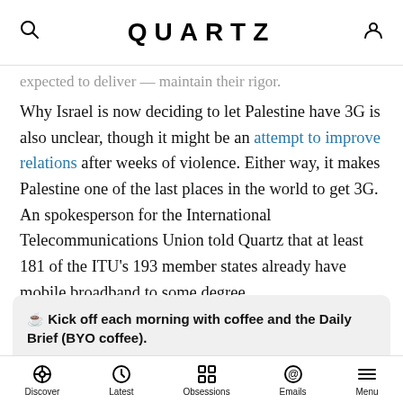QUARTZ
expected to deliver — maintain their rigor.
Why Israel is now deciding to let Palestine have 3G is also unclear, though it might be an attempt to improve relations after weeks of violence. Either way, it makes Palestine one of the last places in the world to get 3G. An spokesperson for the International Telecommunications Union told Quartz that at least 181 of the ITU's 193 member states already have mobile broadband to some degree.
☕ Kick off each morning with coffee and the Daily Brief (BYO coffee).
Enter your email
Discover  Latest  Obsessions  Emails  Menu